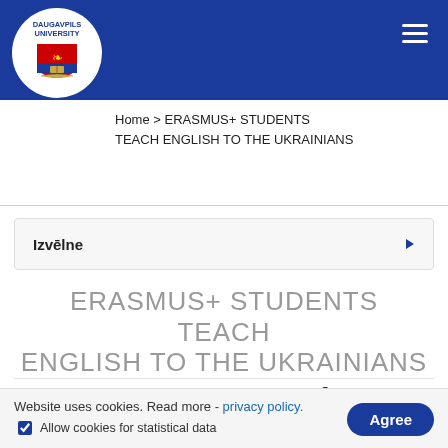DAUGAVPILS UNIVERSITY
Home > ERASMUS+ STUDENTS TEACH ENGLISH TO THE UKRAINIANS
Izvēlne
ERASMUS+ STUDENTS TEACH ENGLISH TO THE UKRAINIANS
11.04.2022   share: f  in   print:
Website uses cookies. Read more - privacy policy.
Allow cookies for statistical data